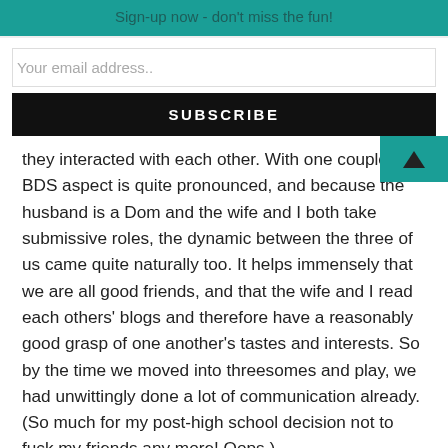Sign-up now - don't miss the fun!
Your email address..
SUBSCRIBE
they interacted with each other. With one couple, the BDS aspect is quite pronounced, and because the husband is a Dom and the wife and I both take submissive roles, the dynamic between the three of us came quite naturally too. It helps immensely that we are all good friends, and that the wife and I read each others' blogs and therefore have a reasonably good grasp of one another's tastes and interests. So by the time we moved into threesomes and play, we had unwittingly done a lot of communication already. (So much for my post-high school decision not to fuck my friends any more! Oops.)
[Figure (infographic): Social share bar with Twitter, Facebook, Reddit, Buffer, Pinterest, Email icons and a share count showing 0 SHARES]